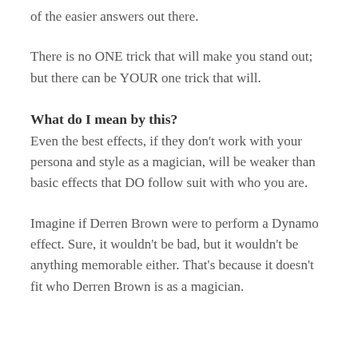of the easier answers out there.
There is no ONE trick that will make you stand out; but there can be YOUR one trick that will.
What do I mean by this?
Even the best effects, if they don’t work with your persona and style as a magician, will be weaker than basic effects that DO follow suit with who you are.
Imagine if Derren Brown were to perform a Dynamo effect. Sure, it wouldn’t be bad, but it wouldn’t be anything memorable either. That’s because it doesn’t fit who Derren Brown is as a magician.